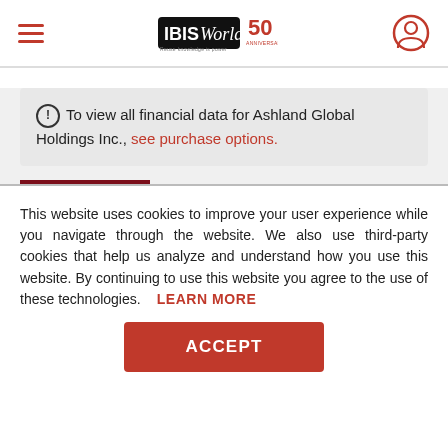IBISWorld 50th Anniversary
To view all financial data for Ashland Global Holdings Inc., see purchase options.
This website uses cookies to improve your user experience while you navigate through the website. We also use third-party cookies that help us analyze and understand how you use this website. By continuing to use this website you agree to the use of these technologies. LEARN MORE
ACCEPT